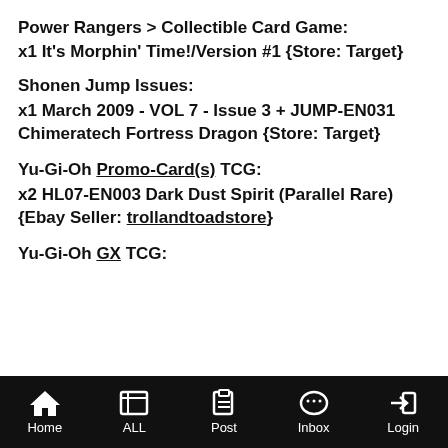Power Rangers > Collectible Card Game:
x1 It's Morphin' Time!/Version #1 {Store: Target}
Shonen Jump Issues:
x1 March 2009 - VOL 7 - Issue 3 + JUMP-EN031 Chimeratech Fortress Dragon {Store: Target}
Yu-Gi-Oh Promo-Card(s) TCG:
x2 HL07-EN003 Dark Dust Spirit (Parallel Rare) {Ebay Seller: trollandtoadstore}
Yu-Gi-Oh GX TCG:
Home  ALL  Post  Inbox  Login